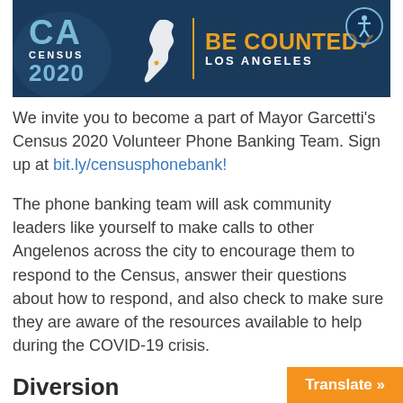[Figure (logo): CA Census 2020 'Be Counted Los Angeles' banner with California state silhouette, orange divider line, and accessibility icon]
We invite you to become a part of Mayor Garcetti's Census 2020 Volunteer Phone Banking Team. Sign up at bit.ly/censusphonebank!
The phone banking team will ask community leaders like yourself to make calls to other Angelenos across the city to encourage them to respond to the Census, answer their questions about how to respond, and also check to make sure they are aware of the resources available to help during the COVID-19 crisis.
Diversion